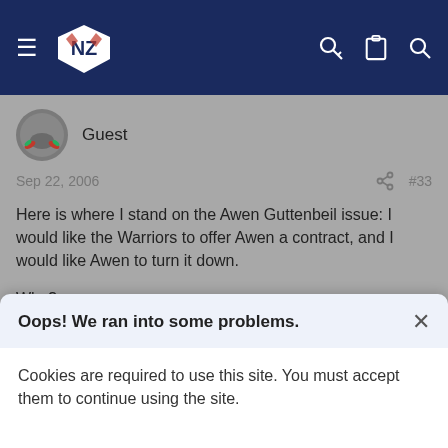Navigation bar with Warriors NZ logo, hamburger menu, key icon, clipboard icon, search icon
Guest
Sep 22, 2006   #33
Here is where I stand on the Awen Guttenbeil issue: I would like the Warriors to offer Awen a contract, and I would like Awen to turn it down.
Why?
I would be concerned if the Warriors didn't approach Guttenbeil, considering his situation and the fact that he has given so much to the club over the years, and in particular this year. If our management
Oops! We ran into some problems.
Cookies are required to use this site. You must accept them to continue using the site.